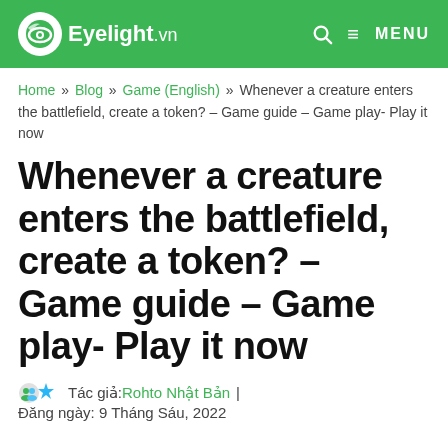Eyelight.vn  MENU
Home » Blog » Game (English) » Whenever a creature enters the battlefield, create a token? – Game guide – Game play- Play it now
Whenever a creature enters the battlefield, create a token? – Game guide – Game play- Play it now
Tác giả: Rohto Nhật Bản | Đăng ngày: 9 Tháng Sáu, 2022